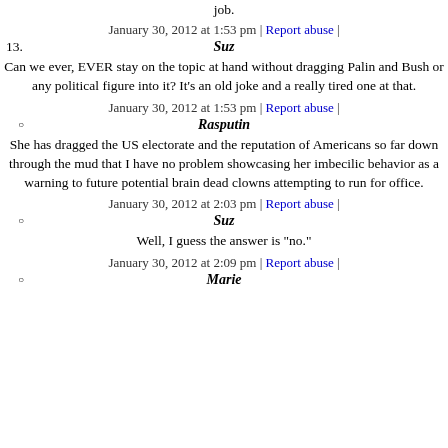job.
January 30, 2012 at 1:53 pm | Report abuse |
13. Suz
Can we ever, EVER stay on the topic at hand without dragging Palin and Bush or any political figure into it? It's an old joke and a really tired one at that.
January 30, 2012 at 1:53 pm | Report abuse |
Rasputin
She has dragged the US electorate and the reputation of Americans so far down through the mud that I have no problem showcasing her imbecilic behavior as a warning to future potential brain dead clowns attempting to run for office.
January 30, 2012 at 2:03 pm | Report abuse |
Suz
Well, I guess the answer is "no."
January 30, 2012 at 2:09 pm | Report abuse |
Marie